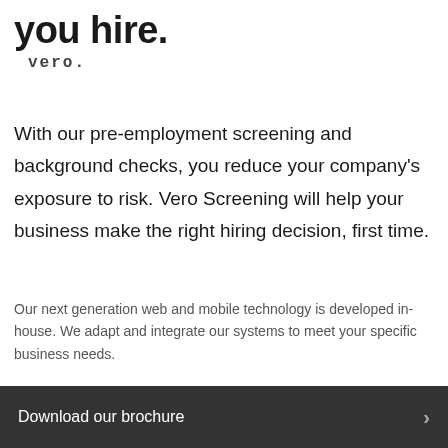you hire.
[Figure (logo): Vero company logo with text 'vero.']
With our pre-employment screening and background checks, you reduce your company’s exposure to risk. Vero Screening will help your business make the right hiring decision, first time.
Our next generation web and mobile technology is developed in-house. We adapt and integrate our systems to meet your specific business needs.
Download our brochure